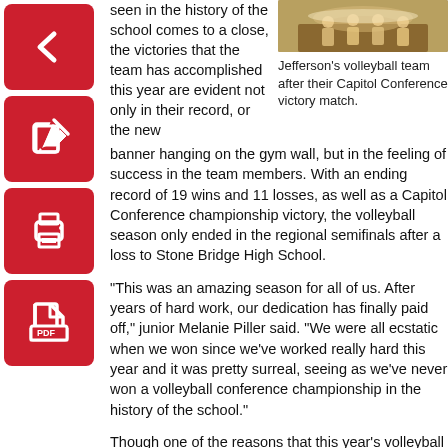[Figure (illustration): Four red icon buttons on the left side: back arrow, edit/pencil, print, and PDF document icons, all on red rounded square backgrounds]
seen in the history of the school comes to a close, the victories that the team has accomplished this year are evident not only in their record, or the new banner hanging on the gym wall, but in the feeling of success in the team members. With an ending record of 19 wins and 11 losses, as well as a Capitol Conference championship victory, the volleyball season only ended in the regional semifinals after a loss to Stone Bridge High School.
[Figure (photo): Jefferson's volleyball team after their Capitol Conference victory match]
Jefferson's volleyball team after their Capitol Conference victory match.
"This was an amazing season for all of us. After years of hard work, our dedication has finally paid off," junior Melanie Piller said. "We were all ecstatic when we won since we've worked really hard this year and it was pretty surreal, seeing as we've never won a volleyball conference championship in the history of the school."
Though one of the reasons that this year's volleyball team was as successful and effective was as a result of being made up of juniors and seniors who had played and worked together for a few years now, the future of the team still looks promising.
While the seniors will not be returning next season, the junior varsity team will provide many underclassmen that will take their